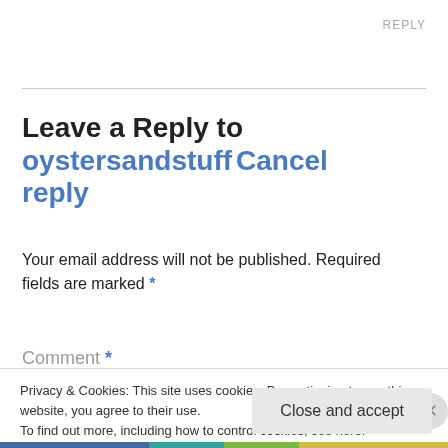REPLY
Leave a Reply to oystersandstuff Cancel reply
Your email address will not be published. Required fields are marked *
Comment *
Privacy & Cookies: This site uses cookies. By continuing to use this website, you agree to their use.
To find out more, including how to control cookies, see here:
Cookie Policy
Close and accept